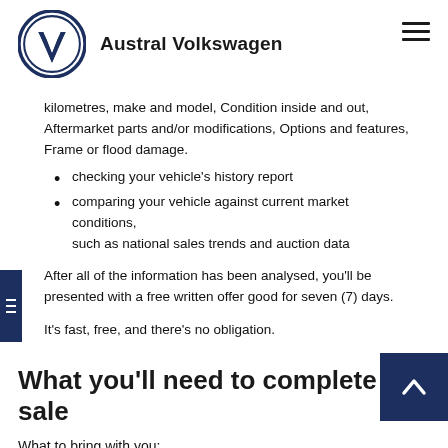Austral Volkswagen
kilometres, make and model, Condition inside and out, Aftermarket parts and/or modifications, Options and features, Frame or flood damage.
checking your vehicle's history report
comparing your vehicle against current market conditions, such as national sales trends and auction data
After all of the information has been analysed, you'll be presented with a free written offer good for seven (7) days.
It's fast, free, and there's no obligation.
What you'll need to complete the sale
What to bring with you: